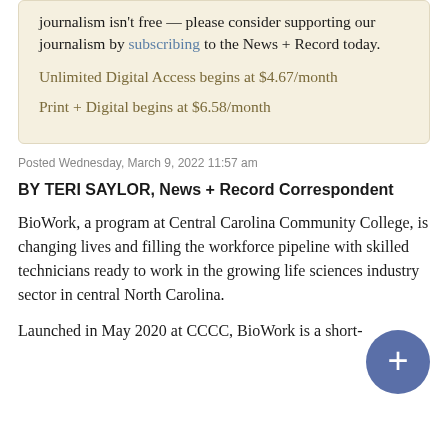journalism isn't free — please consider supporting our journalism by subscribing to the News + Record today.
Unlimited Digital Access begins at $4.67/month
Print + Digital begins at $6.58/month
Posted Wednesday, March 9, 2022 11:57 am
BY TERI SAYLOR, News + Record Correspondent
BioWork, a program at Central Carolina Community College, is changing lives and filling the workforce pipeline with skilled technicians ready to work in the growing life sciences industry sector in central North Carolina.
Launched in May 2020 at CCCC, BioWork is a short-